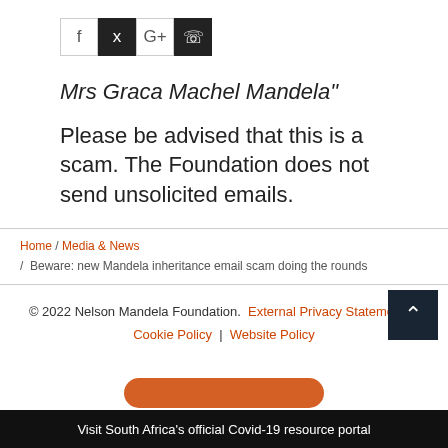[Figure (other): Social media share buttons: Facebook (f), Twitter (bird icon), Google+ (G+), WhatsApp (phone icon). Twitter and WhatsApp buttons are dark/black; Facebook and Google+ are light.]
Mrs Graca Machel Mandela"
Please be advised that this is a scam. The Foundation does not send unsolicited emails.
Home / Media & News / Beware: new Mandela inheritance email scam doing the rounds
© 2022 Nelson Mandela Foundation. External Privacy Statement | Cookie Policy | Website Policy
Visit South Africa's official Covid-19 resource portal